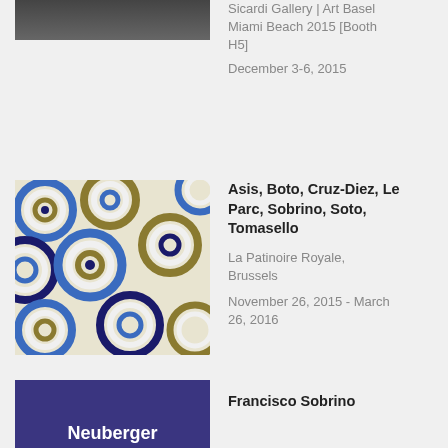[Figure (photo): Partial dark/gray image cropped at top of page]
Sicardi Gallery | Art Basel Miami Beach 2015 [Booth H5]
December 3-6, 2015
[Figure (photo): Colorful swirling circles artwork with blue, gold, white and dark navy patterns]
Asis, Boto, Cruz-Diez, Le Parc, Sobrino, Soto, Tomasello
La Patinoire Royale, Brussels
November 26, 2015 - March 26, 2016
[Figure (logo): Neuberger museum logo - dark purple/indigo rectangle with white text reading Neuberger]
Francisco Sobrino